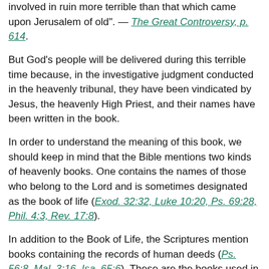involved in ruin more terrible than that which came upon Jerusalem of old". — The Great Controversy, p. 614.
But God's people will be delivered during this terrible time because, in the investigative judgment conducted in the heavenly tribunal, they have been vindicated by Jesus, the heavenly High Priest, and their names have been written in the book.
In order to understand the meaning of this book, we should keep in mind that the Bible mentions two kinds of heavenly books. One contains the names of those who belong to the Lord and is sometimes designated as the book of life (Exod. 32:32, Luke 10:20, Ps. 69:28, Phil. 4:3, Rev. 17:8).
In addition to the Book of Life, the Scriptures mention books containing the records of human deeds (Ps. 56:8, Mal. 3:16, Isa. 65:6). These are the books used in the heavenly tribunal to determine every person's commitment to the Lord. These are heavenly records, "databases", containing the names and deeds of every human being. Some people frown upon the idea of having their names, and especially their deeds, written